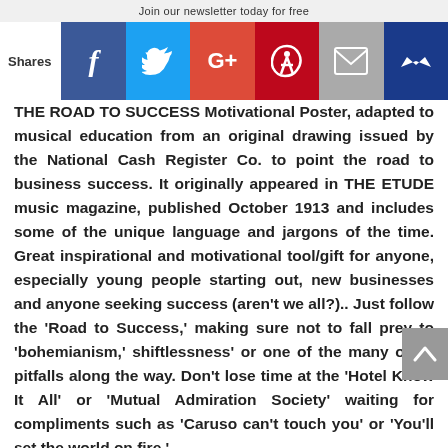Join our newsletter today for free
[Figure (infographic): Social sharing bar with Shares label and buttons: Facebook, Twitter, Google+, Pinterest, Email, Crown/premium]
THE ROAD TO SUCCESS Motivational Poster, adapted to musical education from an original drawing issued by the National Cash Register Co. to point the road to business success. It originally appeared in THE ETUDE music magazine, published October 1913 and includes some of the unique language and jargons of the time. Great inspirational and motivational tool/gift for anyone, especially young people starting out, new businesses and anyone seeking success (aren't we all?).. Just follow the 'Road to Success,' making sure not to fall prey to 'bohemianism,' shiftlessness' or one of the many other pitfalls along the way. Don't lose time at the 'Hotel Know It All' or 'Mutual Admiration Society' waiting for compliments such as 'Caruso can't touch you' or 'You'll set the world on fire.'